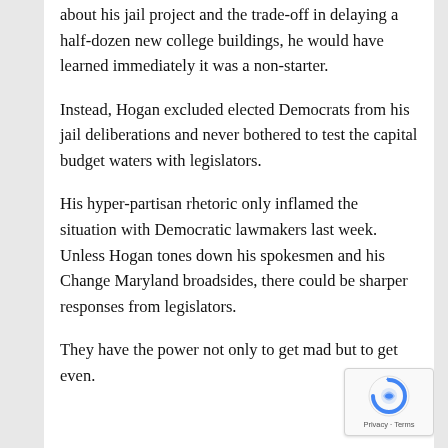about his jail project and the trade-off in delaying a half-dozen new college buildings, he would have learned immediately it was a non-starter.
Instead, Hogan excluded elected Democrats from his jail deliberations and never bothered to test the capital budget waters with legislators.
His hyper-partisan rhetoric only inflamed the situation with Democratic lawmakers last week.  Unless Hogan tones down his spokesmen and his Change Maryland broadsides, there could be sharper responses from legislators.
They have the power not only to get mad but to get even.